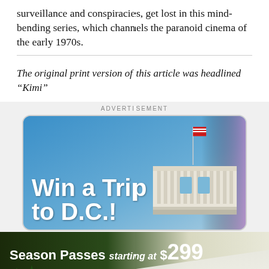surveillance and conspiracies, get lost in this mind-bending series, which channels the paranoid cinema of the early 1970s.
The original print version of this article was headlined “Kimi”
[Figure (infographic): Advertisement section with two ads: 1) 'Win a Trip to D.C.!' ad showing the White House with a purple/blue gradient background. 2) 'Season Passes starting at $299 - Purchase by Labor Day and SAVE!' ski resort advertisement showing a skier on a snowy slope with trees.]